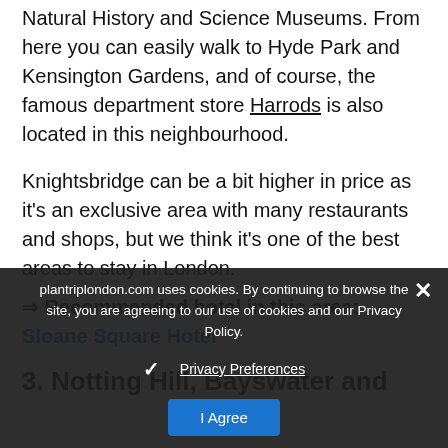Natural History and Science Museums. From here you can easily walk to Hyde Park and Kensington Gardens, and of course, the famous department store Harrods is also located in this neighbourhood.
Knightsbridge can be a bit higher in price as it's an exclusive area with many restaurants and shops, but we think it's one of the best areas to stay in London.
⇒ Recommended hotel in this area: Sloane Square Hotel
plantriplondon.com uses cookies. By continuing to browse the site, you are agreeing to our use of cookies and our Privacy Policy.
Privacy Preferences
I Agree
3. Notting Hill, Bayswater and